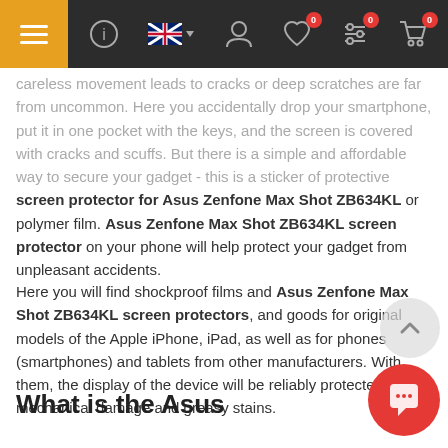Navigation bar with hamburger menu, info, language selector, account, wishlist (0), filters (0), cart (0)
careless movement leads to cracks or deep scratches are far from uncommon. Here you accidentally drop your smartphone, put it in one pocket with the keys, and the screen is covered with cracks and scuffs. But there is a simple and affordable way to secure your gadget - this is a sticker of protective screen protector for Asus Zenfone Max Shot ZB634KL or polymer film. Asus Zenfone Max Shot ZB634KL screen protector on your phone will help protect your gadget from unpleasant accidents.
Here you will find shockproof films and Asus Zenfone Max Shot ZB634KL screen protectors, and goods for original models of the Apple iPhone, iPad, as well as for phones (smartphones) and tablets from other manufacturers. With them, the display of the device will be reliably protected from mechanical damage and greasy stains.
What is the Asus